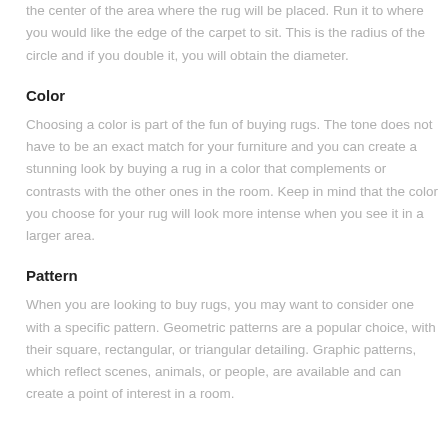the center of the area where the rug will be placed. Run it to where you would like the edge of the carpet to sit. This is the radius of the circle and if you double it, you will obtain the diameter.
Color
Choosing a color is part of the fun of buying rugs. The tone does not have to be an exact match for your furniture and you can create a stunning look by buying a rug in a color that complements or contrasts with the other ones in the room. Keep in mind that the color you choose for your rug will look more intense when you see it in a larger area.
Pattern
When you are looking to buy rugs, you may want to consider one with a specific pattern. Geometric patterns are a popular choice, with their square, rectangular, or triangular detailing. Graphic patterns, which reflect scenes, animals, or people, are available and can create a point of interest in a room.